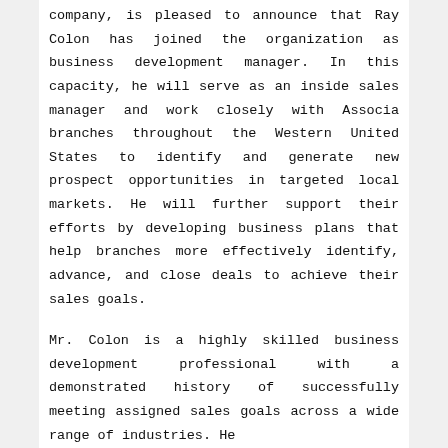company, is pleased to announce that Ray Colon has joined the organization as business development manager. In this capacity, he will serve as an inside sales manager and work closely with Associa branches throughout the Western United States to identify and generate new prospect opportunities in targeted local markets. He will further support their efforts by developing business plans that help branches more effectively identify, advance, and close deals to achieve their sales goals.
Mr. Colon is a highly skilled business development professional with a demonstrated history of successfully meeting assigned sales goals across a wide range of industries. He